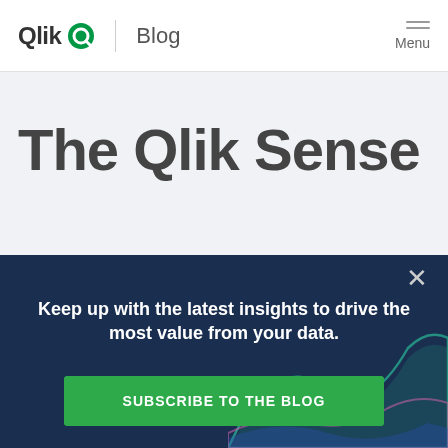Qlik Blog | Menu
The Qlik Sense
[Figure (other): Dark blue promotional overlay with wave pattern decoration in bottom right corner, close button (×), text 'Keep up with the latest insights to drive the most value from your data.' and a green 'SUBSCRIBE TO THE BLOG' button]